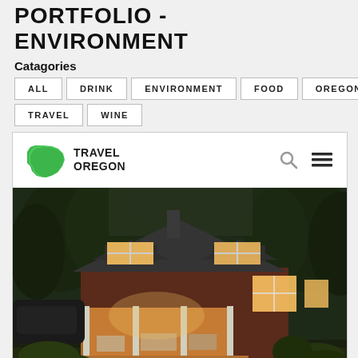PORTFOLIO - ENVIRONMENT
Catagories
ALL
DRINK
ENVIRONMENT
FOOD
OREGON
TRAVEL
WINE
[Figure (screenshot): Screenshot of Travel Oregon website showing logo with green Oregon state shape, navigation bar with search and menu icons, and a photograph of a craftsman-style house lit warmly at dusk surrounded by trees and gardens.]